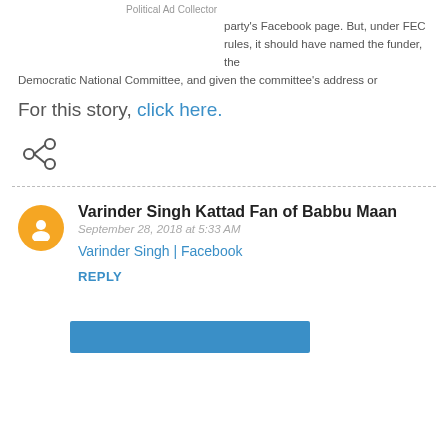Political Ad Collector
party's Facebook page. But, under FEC rules, it should have named the funder, the Democratic National Committee, and given the committee's address or
For this story, click here.
[Figure (other): Share icon (less-than style network share symbol)]
Varinder Singh Kattad Fan of Babbu Maan
September 28, 2018 at 5:33 AM
Varinder Singh | Facebook
REPLY
[Figure (other): Blue rectangular button at the bottom]